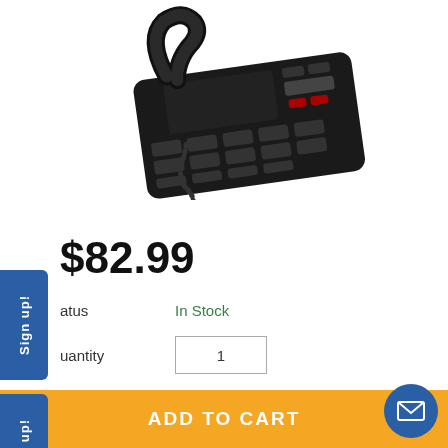[Figure (photo): Black desk/corded telephone with buttons and curly cord handset, viewed from above at an angle]
$82.99
Status   In Stock
Quantity   1
d accident protection offered by Extend
| 1 Year | 2 Year | 3 Year |
| --- | --- | --- |
| $9.99 | $16.99 | $24.99 |
ADD TO CART